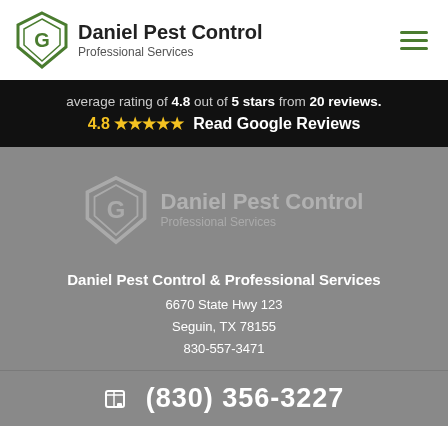[Figure (logo): Daniel Pest Control shield logo with text 'Daniel Pest Control Professional Services' and hamburger menu icon]
average rating of 4.8 out of 5 stars from 20 reviews. 4.8 ★★★★★ Read Google Reviews
[Figure (logo): Watermark of Daniel Pest Control logo in grey on grey background]
Daniel Pest Control & Professional Services
6670 State Hwy 123
Seguin, TX 78155
830-557-3471
(830) 356-3227